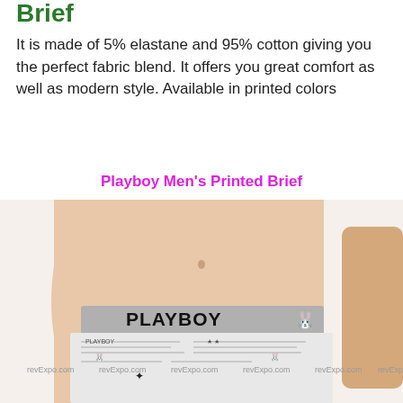Brief
It is made of 5% elastane and 95% cotton giving you the perfect fabric blend. It offers you great comfort as well as modern style. Available in printed colors
Playboy Men's Printed Brief
[Figure (photo): Photo of a man wearing a Playboy Men's Printed Brief with bold PLAYBOY waistband and newspaper print pattern, watermarked with revExpo.com]